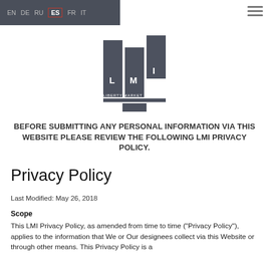EN  DE  RU  ES  FR  IT
[Figure (logo): LMI Liberty Market Investment logo with three grey vertical bars and text]
BEFORE SUBMITTING ANY PERSONAL INFORMATION VIA THIS WEBSITE PLEASE REVIEW THE FOLLOWING LMI PRIVACY POLICY.
Privacy Policy
Last Modified: May 26, 2018
Scope
This LMI Privacy Policy, as amended from time to time ("Privacy Policy"), applies to the information that We or Our designees collect via this Website or through other means. This Privacy Policy is a